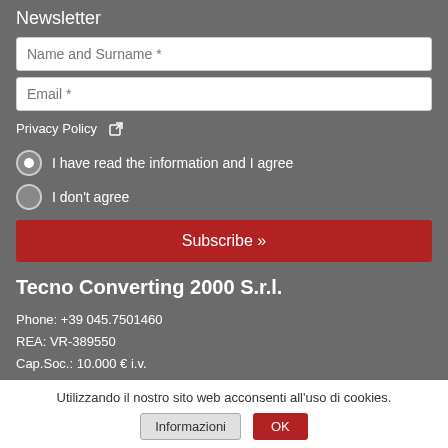Newsletter
Name and Surname *
Email *
Privacy Policy ↗
I have read the information and I agree
I don't agree
Subscribe »
Tecno Converting 2000 S.r.l.
Phone: +39 045.7501460
REA: VR-389550
Cap.Soc.: 10.000 € i.v.
VAT Number: IT01470990332
Email: sales@tecnoconverting2000.com
Copyright ©2000-2022 All rights reserved by ArgoIT.com
Home Page
Utilizzando il nostro sito web acconsenti all'uso di cookies.
Informazioni  OK